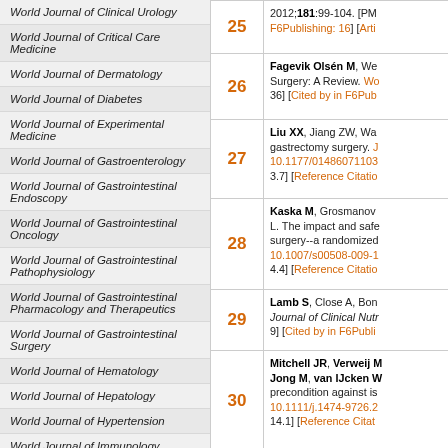World Journal of Clinical Urology
World Journal of Critical Care Medicine
World Journal of Dermatology
World Journal of Diabetes
World Journal of Experimental Medicine
World Journal of Gastroenterology
World Journal of Gastrointestinal Endoscopy
World Journal of Gastrointestinal Oncology
World Journal of Gastrointestinal Pathophysiology
World Journal of Gastrointestinal Pharmacology and Therapeutics
World Journal of Gastrointestinal Surgery
World Journal of Hematology
World Journal of Hepatology
World Journal of Hypertension
World Journal of Immunology
World Journal of Medical Genetics
25 - 2012;181:99-104. [PMID F6Publishing: 16] [Arti
26 - Fagevik Olsén M, We Surgery: A Review. Wo 36] [Cited by in F6Pub
27 - Liu XX, Jiang ZW, Wa gastrectomy surgery. J 10.1177/01486071103 3.7] [Reference Citatio
28 - Kaska M, Grosmanov L. The impact and safe surgery--a randomized 10.1007/s00508-009-1 4.4] [Reference Citatio
29 - Lamb S, Close A, Bon Journal of Clinical Nutr 9] [Cited by in F6Publi
30 - Mitchell JR, Verweij M Jong M, van IJcken W precondition against is 10.1111/j.1474-9726.2 14.1] [Reference Citat